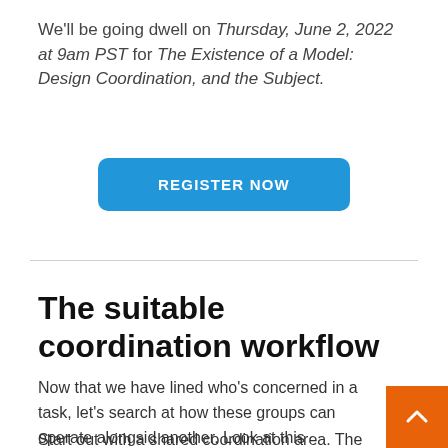We'll be going dwell on Thursday, June 2, 2022 at 9am PST for The Existence of a Model: Design Coordination, and the Subject.
[Figure (other): Blue rounded rectangle button with white bold text reading REGISTER NOW]
The suitable coordination workflow
Now that we have lined who's concerned in a task, let's search at how these groups can operate alongside another. Look at this coordination workflow instan
Start out with a shared coordination area. The process